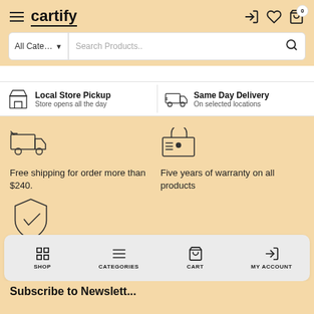cartify
[Figure (screenshot): Search bar with All Categories dropdown and search field]
Local Store Pickup — Store opens all the day
Same Day Delivery — On selected locations
[Figure (illustration): Delivery truck icon for free shipping feature]
Free shipping for order more than $240.
[Figure (illustration): Secure package/warranty icon]
Five years of warranty on all products
[Figure (illustration): Shield with checkmark icon (partially visible)]
SHOP   CATEGORIES   CART   MY ACCOUNT
Subscribe to Newslett...